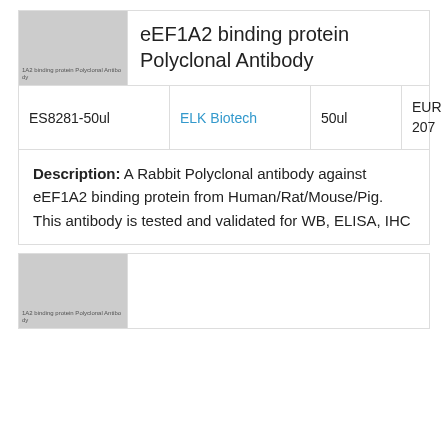[Figure (photo): Thumbnail image placeholder for eEF1A2 binding protein Polyclonal Antibody, grey rectangle with small label text]
eEF1A2 binding protein Polyclonal Antibody
| ID | Brand | Size | Price |
| --- | --- | --- | --- |
| ES8281-50ul | ELK Biotech | 50ul | EUR 207 |
Description: A Rabbit Polyclonal antibody against eEF1A2 binding protein from Human/Rat/Mouse/Pig. This antibody is tested and validated for WB, ELISA, IHC
[Figure (photo): Thumbnail image placeholder for second product, grey rectangle with small label text]